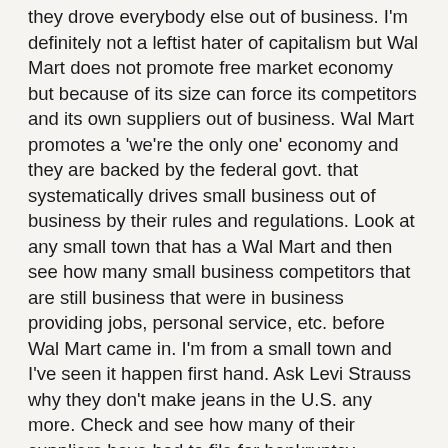they drove everybody else out of business. I'm definitely not a leftist hater of capitalism but Wal Mart does not promote free market economy but because of its size can force its competitors and its own suppliers out of business. Wal Mart promotes a 'we're the only one' economy and they are backed by the federal govt. that systematically drives small business out of business by their rules and regulations. Look at any small town that has a Wal Mart and then see how many small business competitors that are still business that were in business providing jobs, personal service, etc. before Wal Mart came in. I'm from a small town and I've seen it happen first hand. Ask Levi Strauss why they don't make jeans in the U.S. any more. Check and see how many of their suppliers have had to file for bankruptcy because Wal Mart is their largest buyer and squeezed their profit margin into bankruptcy. So, sir, you are wrong about the Jesus not being against a bully that puts everyone else at peril just so that they can benefit. I believe that Jesus would support the small guy against the big conglomerate every time. If you can, please point out one time in the Bible that Jesus took the side of the big...